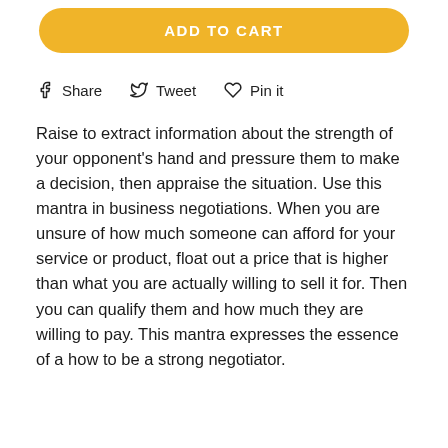[Figure (other): ADD TO CART yellow rounded button]
f Share   🐦 Tweet   ♡ Pin it
Raise to extract information about the strength of your opponent's hand and pressure them to make a decision, then appraise the situation. Use this mantra in business negotiations. When you are unsure of how much someone can afford for your service or product, float out a price that is higher than what you are actually willing to sell it for. Then you can qualify them and how much they are willing to pay. This mantra expresses the essence of a how to be a strong negotiator.